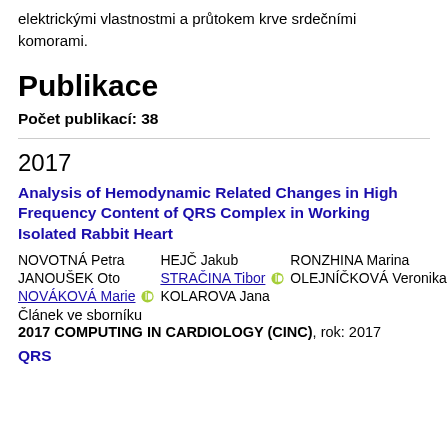elektrickými vlastnostmi a průtokem krve srdečními komorami.
Publikace
Počet publikací: 38
2017
Analysis of Hemodynamic Related Changes in High Frequency Content of QRS Complex in Working Isolated Rabbit Heart
NOVOTNÁ Petra | HEJČ Jakub | RONZHINA Marina | JANOUŠEK Oto | STRAČINA Tibor ⊕ | OLEJNÍČKOVÁ Veronika | NOVÁKOVÁ Marie ⊕ | KOLAROVA Jana
Článek ve sborníku
2017 COMPUTING IN CARDIOLOGY (CINC), rok: 2017
QRS...